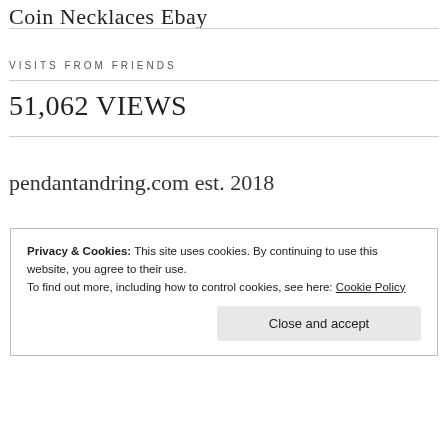Coin Necklaces Ebay
VISITS FROM FRIENDS
51,062 VIEWS
pendantandring.com est. 2018
Privacy & Cookies: This site uses cookies. By continuing to use this website, you agree to their use.
To find out more, including how to control cookies, see here: Cookie Policy
Close and accept